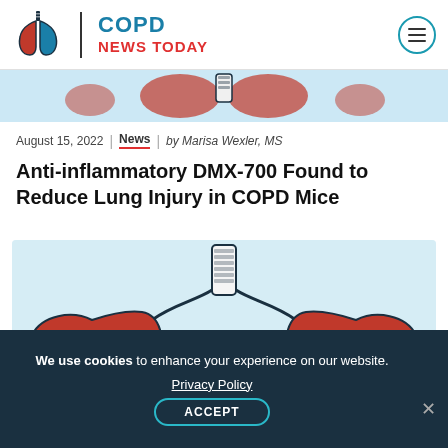COPD NEWS TODAY
[Figure (illustration): Partial decorative banner image strip showing stylized medical/lung illustration]
August 15, 2022 | News | by Marisa Wexler, MS
Anti-inflammatory DMX-700 Found to Reduce Lung Injury in COPD Mice
[Figure (illustration): Illustration of diseased lungs (red) with trachea on light blue background]
We use cookies to enhance your experience on our website. Privacy Policy ACCEPT